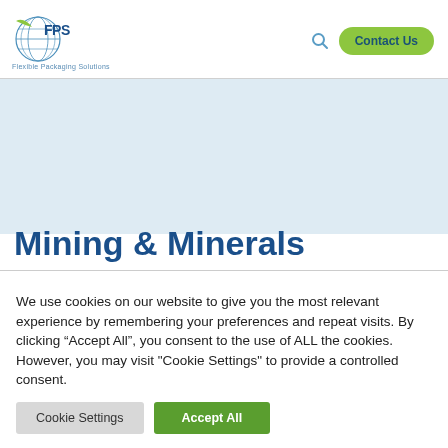FPS Flexible Packaging Solutions — Contact Us
Mining & Minerals
We use cookies on our website to give you the most relevant experience by remembering your preferences and repeat visits. By clicking “Accept All”, you consent to the use of ALL the cookies. However, you may visit "Cookie Settings" to provide a controlled consent.